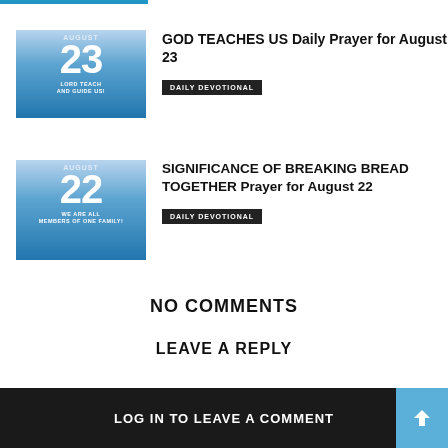[Figure (illustration): Blue banner stub at top left corner of page]
[Figure (illustration): August 23 thumbnail image with blue gradient background, large '23', text 'AUGUST' at top and 'LORD TEACH AND GUIDE US!' at bottom]
GOD TEACHES US Daily Prayer for August 23
DAILY DEVOTIONAL
[Figure (illustration): August 22 thumbnail image with blue gradient background, large '22', text 'AUGUST' at top and 'WE ARE ALL MEMBERS OF ONE FAMILY!' at bottom]
SIGNIFICANCE OF BREAKING BREAD TOGETHER Prayer for August 22
DAILY DEVOTIONAL
NO COMMENTS
LEAVE A REPLY
LOG IN TO LEAVE A COMMENT